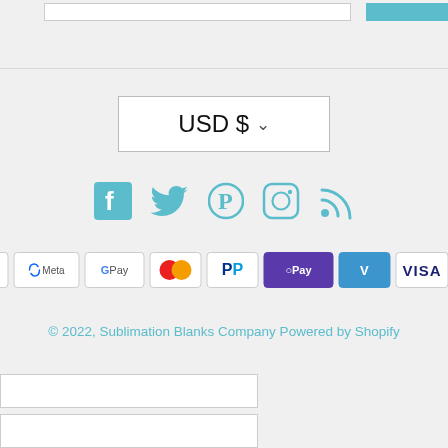[Figure (screenshot): Top bar with input field and blue button (partially visible)]
USD $ ∨
[Figure (infographic): Social media icons: Facebook, Twitter, Pinterest, Instagram, RSS feed in teal color]
[Figure (infographic): Payment method badges: Apple Pay, Meta Pay, Google Pay, Mastercard, PayPal, Shop Pay, Venmo, Visa, Afterpay]
© 2022, Sublimation Blanks Company Powered by Shopify
[Figure (screenshot): Two white input boxes at the bottom left (partially visible)]